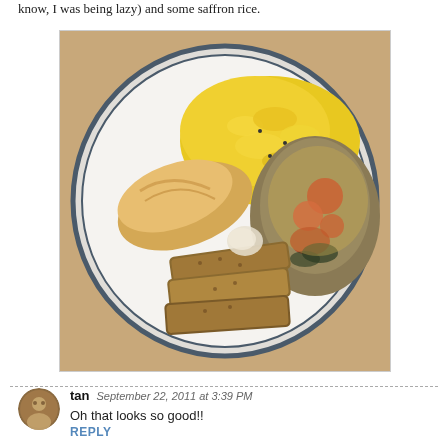know, I was being lazy) and some saffron rice.
[Figure (photo): A white plate with blue rim containing saffron rice (yellow, top), a croissant roll (left), breaded fish sticks or patties (bottom left), and a vegetable tomato ratatouille mixture (right side).]
tan  September 22, 2011 at 3:39 PM
Oh that looks so good!!
REPLY